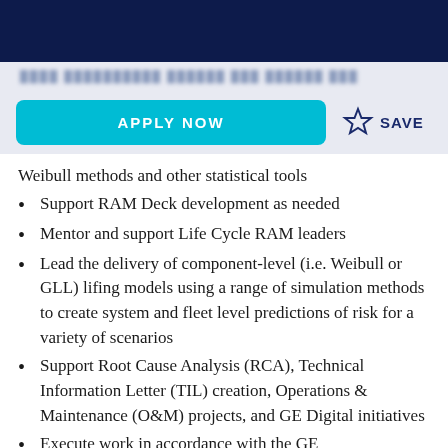[dark navigation header]
Weibull methods and other statistical tools
Support RAM Deck development as needed
Mentor and support Life Cycle RAM leaders
Lead the delivery of component-level (i.e. Weibull or GLL) lifing models using a range of simulation methods to create system and fleet level predictions of risk for a variety of scenarios
Support Root Cause Analysis (RCA), Technical Information Letter (TIL) creation, Operations & Maintenance (O&M) projects, and GE Digital initiatives
Execute work in accordance with the GE